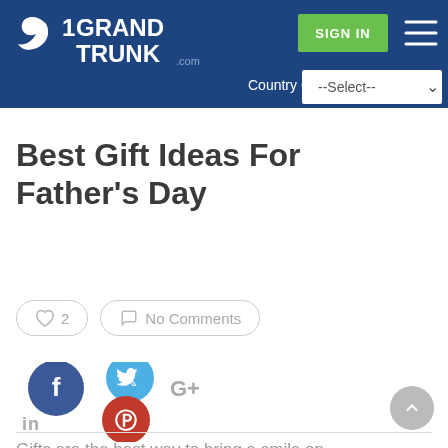[Figure (logo): 1GrandTrunk.com logo with bird icon on dark blue header background, with SIGN IN green button and hamburger menu, and Country Guide dropdown]
Best Gift Ideas For Father's Day
[Figure (infographic): Like button with heart icon showing 2 likes and No Comments button with chat icon, both in rounded pill-style borders]
[Figure (infographic): Social sharing icons: Facebook (dark blue circle), Twitter (light blue circle), LinkedIn (text), Pinterest (red circle), Google+ (text)]
Gifts are the best way to bring a smile on